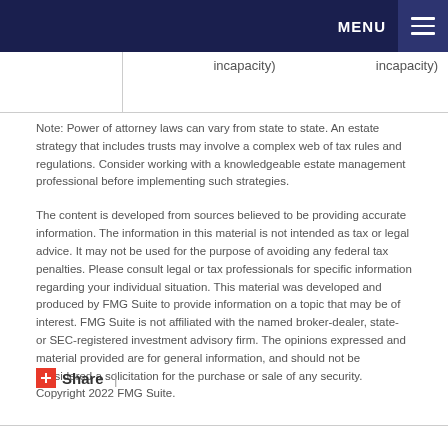MENU
|  | incapacity) | incapacity) |
Note: Power of attorney laws can vary from state to state. An estate strategy that includes trusts may involve a complex web of tax rules and regulations. Consider working with a knowledgeable estate management professional before implementing such strategies.
The content is developed from sources believed to be providing accurate information. The information in this material is not intended as tax or legal advice. It may not be used for the purpose of avoiding any federal tax penalties. Please consult legal or tax professionals for specific information regarding your individual situation. This material was developed and produced by FMG Suite to provide information on a topic that may be of interest. FMG Suite is not affiliated with the named broker-dealer, state- or SEC-registered investment advisory firm. The opinions expressed and material provided are for general information, and should not be considered a solicitation for the purchase or sale of any security. Copyright 2022 FMG Suite.
Share |